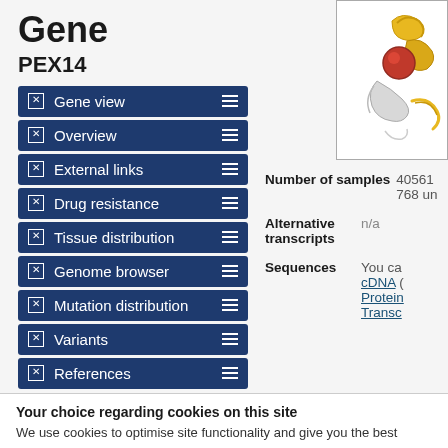Gene
PEX14
Gene view
Overview
External links
Drug resistance
Tissue distribution
Genome browser
Mutation distribution
Variants
References
Reset page
Search
[Figure (illustration): 3D protein structure illustration with yellow ribbons/helices and red/orange spheres on white background]
Number of samples  40561  768 un
Alternative transcripts  n/a
Sequences  You ca cDNA ( Protein Transc
Your choice regarding cookies on this site
We use cookies to optimise site functionality and give you the best